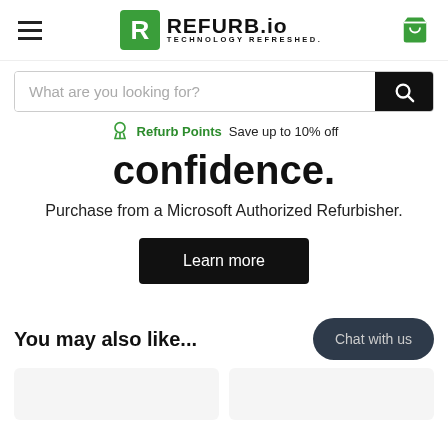REFURB.io — TECHNOLOGY REFRESHED.
What are you looking for?
Refurb Points Save up to 10% off
confidence.
Purchase from a Microsoft Authorized Refurbisher.
Learn more
You may also like...
Chat with us